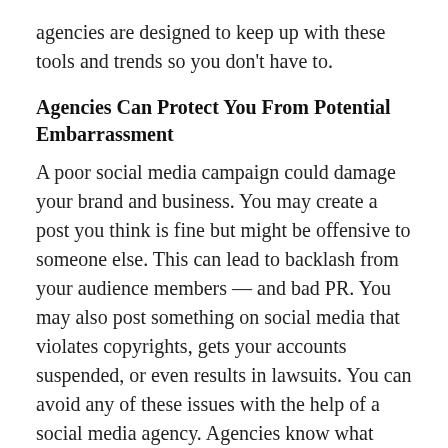agencies are designed to keep up with these tools and trends so you don't have to.
Agencies Can Protect You From Potential Embarrassment
A poor social media campaign could damage your brand and business. You may create a post you think is fine but might be offensive to someone else. This can lead to backlash from your audience members — and bad PR. You may also post something on social media that violates copyrights, gets your accounts suspended, or even results in lawsuits. You can avoid any of these issues with the help of a social media agency. Agencies know what kinds of posts will do best among your audience and what types of content may violate copyright laws.
The Bottom Line